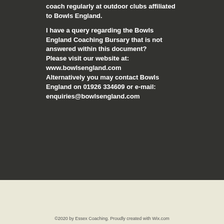coach regularly at outdoor clubs affiliated to Bowls England.
I have a query regarding the Bowls England Coaching Bursary that is not answered within this document?
Please visit our website at:
www.bowlsengland.com
Alternatively you may contact Bowls England on 01926 334609 or e-mail:
enquiries@bowlsengland.com
©2020 by Essex Coaching. Proudly created with Wix.com